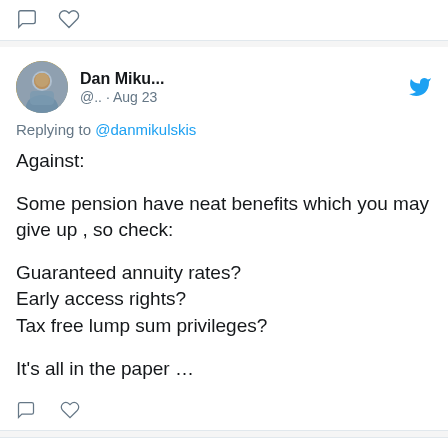[Figure (screenshot): Twitter/social media thread screenshot showing tweet icons (comment and heart) at top]
Dan Miku... @.. · Aug 23
Replying to @danmikulskis
Against:

Some pension have neat benefits which you may give up , so check:

Guaranteed annuity rates?
Early access rights?
Tax free lump sum privileges?

It's all in the paper …
Dan Miku...